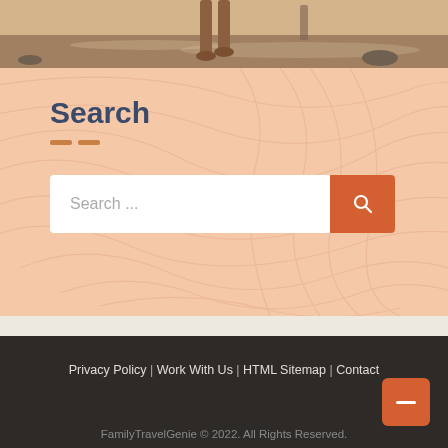[Figure (photo): Top portion of a beach scene showing feet/legs near water with sunlit sand and shoreline]
Search
[Figure (other): Search bar widget with text input placeholder 'Search ...' and orange search button]
Privacy Policy | Work With Us | HTML Sitemap | Contact
FamilyTravelGenie © 2022. All Rights Reserved.